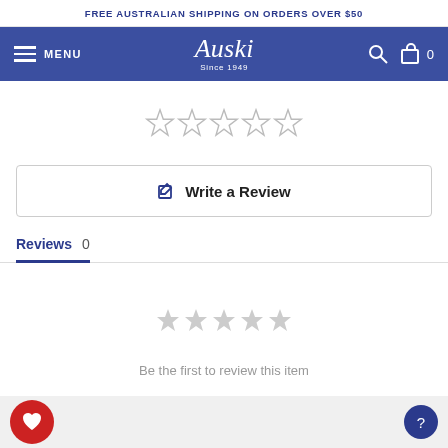FREE AUSTRALIAN SHIPPING ON ORDERS OVER $50
MENU  Auski Since 1949
[Figure (other): Five empty star rating icons (outline only, no fill)]
✏ Write a Review
Reviews 0
[Figure (other): Five empty star rating icons (smaller, gray fill outline)]
Be the first to review this item